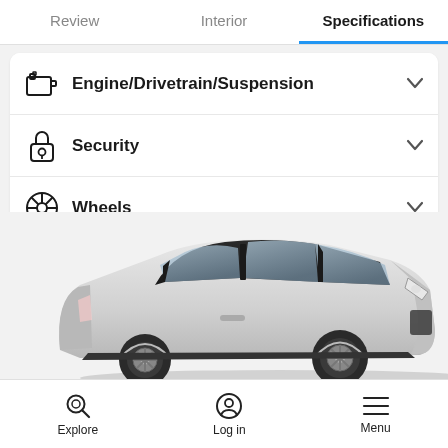Review | Interior | Specifications
Engine/Drivetrain/Suspension
Security
Wheels
[Figure (photo): Silver Mazda CX-30 SUV shown from side-front angle, partially cropped at bottom]
Explore | Log in | Menu